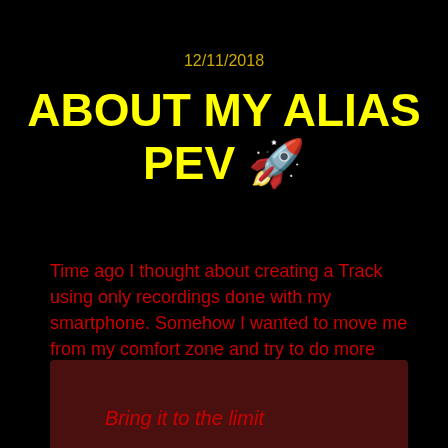12/11/2018
ABOUT MY ALIAS PEV 🚀
Time ago I thought about creating a Track using only recordings done with my smartphone. Somehow I wanted to move me from my comfort zone and try to do more with less. You always learn something new, even when you fail.
Bring it to the limit